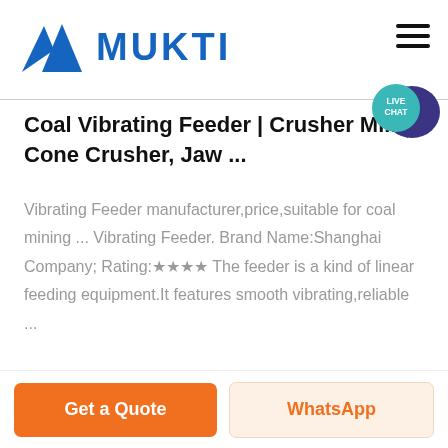[Figure (logo): Mukti company logo with blue triangular mountain icon and bold blue MUKTI text]
Coal Vibrating Feeder | Crusher Mills, Cone Crusher, Jaw ...
Vibrating Feeder manufacturer,price,suitable for coal mining ... Vibrating Feeder. Brand Name:Shanghai Company; Rating:★★★★ The feeder is a kind of linear feeding equipment.It features smooth vibrating,reliable ...
Read More »